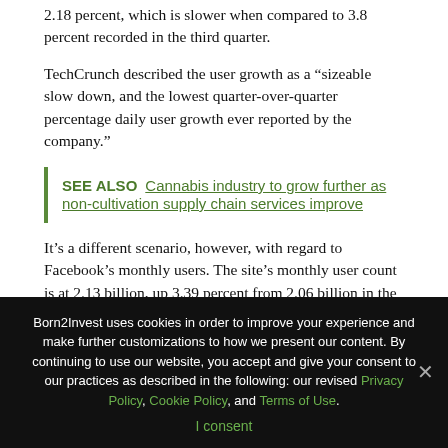2.18 percent, which is slower when compared to 3.8 percent recorded in the third quarter.
TechCrunch described the user growth as a “sizeable slow down, and the lowest quarter-over-quarter percentage daily user growth ever reported by the company.”
SEE ALSO  Cannabis industry to grow further as non-cultivation supply chain services improve
It’s a different scenario, however, with regard to Facebook’s monthly users. The site’s monthly user count is at 2.13 billion, up 3.39 percent from 2.06 billion in the third quarter.
Born2Invest uses cookies in order to improve your experience and make further customizations to how we present our content. By continuing to use our website, you accept and give your consent to our practices as described in the following: our revised Privacy Policy, Cookie Policy, and Terms of Use.
I consent